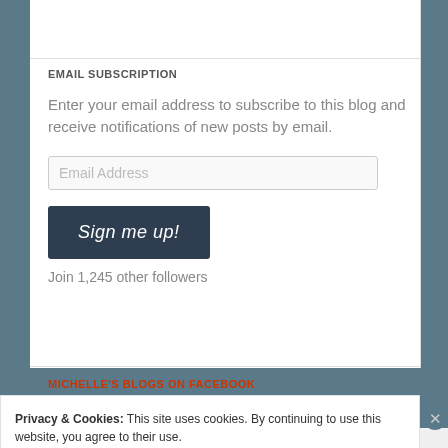EMAIL SUBSCRIPTION
Enter your email address to subscribe to this blog and receive notifications of new posts by email.
Email Address
Sign me up!
Join 1,245 other followers
MICHELLE'S BLOGS ON FACEBOOK
Privacy & Cookies: This site uses cookies. By continuing to use this website, you agree to their use.
To find out more, including how to control cookies, see here: Cookie Policy
Close and accept